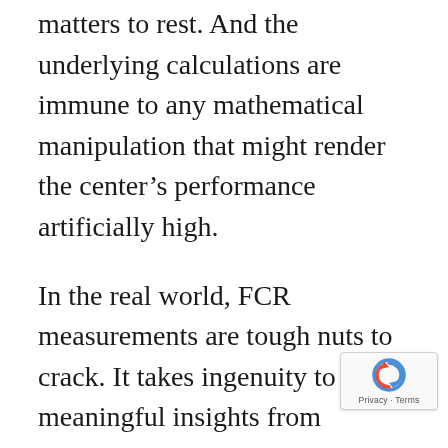It takes more than one interaction to put matters to rest. And the underlying calculations are immune to any mathematical manipulation that might render the center's performance artificially high.
In the real world, FCR measurements are tough nuts to crack. It takes ingenuity to glean meaningful insights from metrics that are scattered across multiple systems. It takes integrity to ensure that the calculations accurately capture the reality of the customer experience, especially they might reflect poorly on the center.